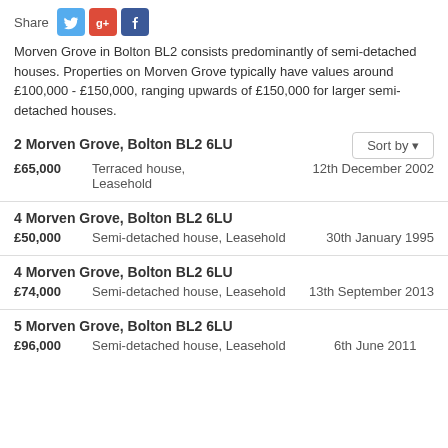[Figure (infographic): Share bar with Twitter, Google+, and Facebook social media icons]
Morven Grove in Bolton BL2 consists predominantly of semi-detached houses. Properties on Morven Grove typically have values around £100,000 - £150,000, ranging upwards of £150,000 for larger semi-detached houses.
2 Morven Grove, Bolton BL2 6LU — £65,000 — Terraced house, Leasehold — 12th December 2002
4 Morven Grove, Bolton BL2 6LU — £50,000 — Semi-detached house, Leasehold — 30th January 1995
4 Morven Grove, Bolton BL2 6LU — £74,000 — Semi-detached house, Leasehold — 13th September 2013
5 Morven Grove, Bolton BL2 6LU — £96,000 — Semi-detached house, Leasehold — 6th June 2011